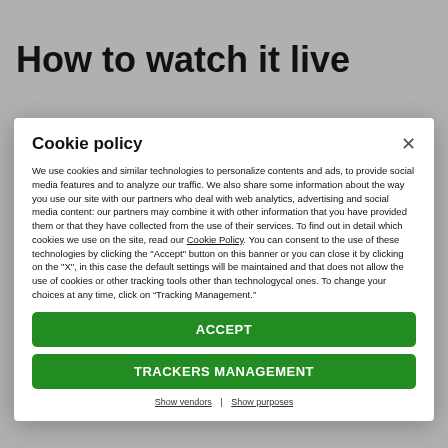How to watch it live
Cookie policy
We use cookies and similar technologies to personalize contents and ads, to provide social media features and to analyze our traffic. We also share some information about the way you use our site with our partners who deal with web analytics, advertising and social media content: our partners may combine it with other information that you have provided them or that they have collected from the use of their services. To find out in detail which cookies we use on the site, read our Cookie Policy. You can consent to the use of these technologies by clicking the "Accept" button on this banner or you can close it by clicking on the "X", in this case the default settings will be maintained and that does not allow the use of cookies or other tracking tools other than technologycal ones. To change your choices at any time, click on “Tracking Management.”
ACCEPT
TRACKERS MANAGEMENT
Show vendors | Show purposes